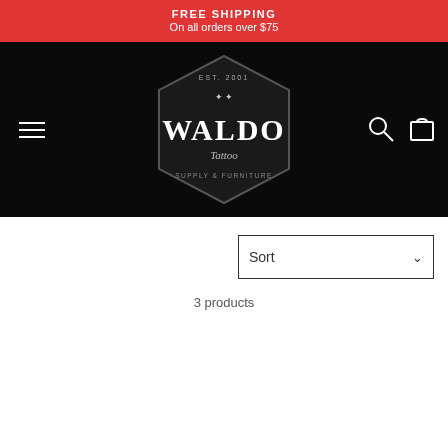FREE SHIPPING
On all orders over $75
[Figure (logo): Waldo Tattoo Supply & Furniture hexagonal badge logo on black navigation bar with hamburger menu, search icon, and cart icon]
Sort
3 products